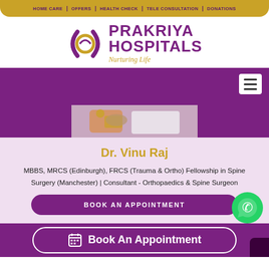HOME CARE | OFFERS | HEALTH CHECK | TELE CONSULTATION | DONATIONS
[Figure (logo): Prakriya Hospitals logo with purple text and gold tagline 'Nurturing Life']
[Figure (photo): Purple banner with hamburger menu button and partial doctor photo showing hands]
Dr. Vinu Raj
MBBS, MRCS (Edinburgh), FRCS (Trauma & Ortho) Fellowship in Spine Surgery (Manchester) | Consultant - Orthopaedics & Spine Surgeon
BOOK AN APPOINTMENT
Book An Appointment